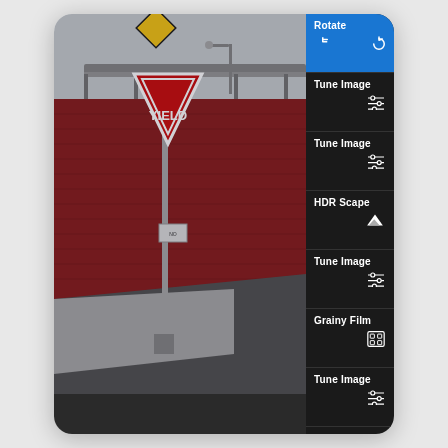[Figure (screenshot): Mobile photo editing app screenshot showing a street photo with a YIELD sign in front of a red brick wall, with a sidebar menu listing editing options: Rotate (active/highlighted in blue with back and rotate icons), Tune Image (with sliders icon, appears 4 times), HDR Scape (with mountain icon), Grainy Film (with film grain icon), and Original. The main photo shows an urban scene with a yield sign, elevated bridge, red wall, and road.]